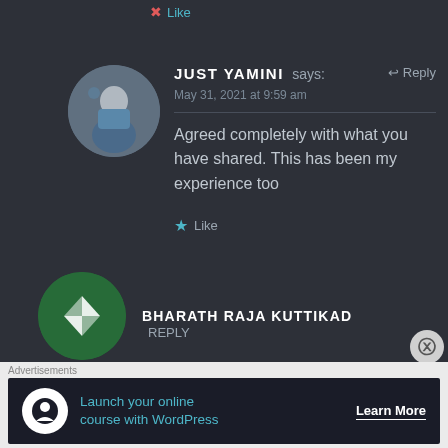Like
JUST YAMINI says: Reply
May 31, 2021 at 9:59 am
Agreed completely with what you have shared. This has been my experience too
Like
BHARATH RAJA KUTTIKAD Reply
[Figure (screenshot): Advertisement bar: Launch your online course with WordPress - Learn More]